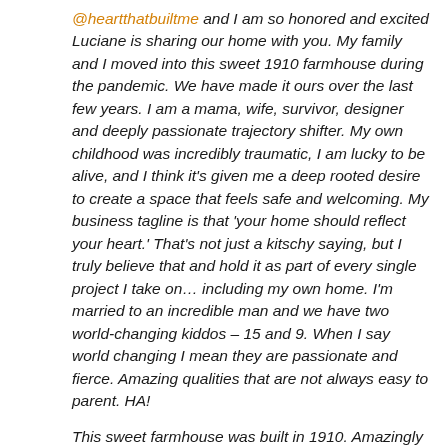@heartthatbuiltme and I am so honored and excited Luciane is sharing our home with you. My family and I moved into this sweet 1910 farmhouse during the pandemic. We have made it ours over the last few years. I am a mama, wife, survivor, designer and deeply passionate trajectory shifter. My own childhood was incredibly traumatic, I am lucky to be alive, and I think it's given me a deep rooted desire to create a space that feels safe and welcoming. My business tagline is that 'your home should reflect your heart.' That's not just a kitschy saying, but I truly believe that and hold it as part of every single project I take on… including my own home. I'm married to an incredible man and we have two world-changing kiddos – 15 and 9. When I say world changing I mean they are passionate and fierce. Amazing qualities that are not always easy to parent. HA!
This sweet farmhouse was built in 1910. Amazingly we are only the third owners. The owners before us had done a fairly extensive remodel, which was great.